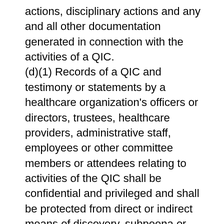actions, disciplinary actions and any and all other documentation generated in connection with the activities of a QIC. (d)(1) Records of a QIC and testimony or statements by a healthcare organization's officers or directors, trustees, healthcare providers, administrative staff, employees or other committee members or attendees relating to activities of the QIC shall be confidential and privileged and shall be protected from direct or indirect means of discovery, subpoena or admission into evidence in any judicial or administrative proceeding. Any person who supplies information, testifies or makes statements as part of a QIC may not be required to provide information as to the information, testimony or statements provided to or made before